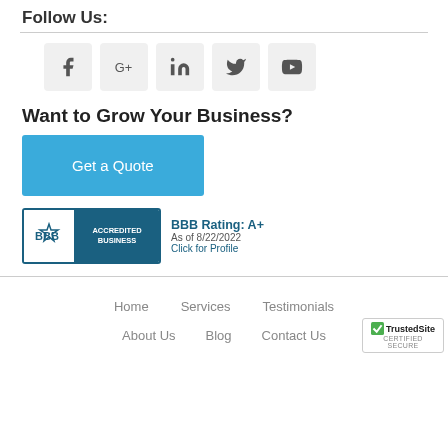Follow Us:
[Figure (infographic): Social media icon buttons: Facebook, Google+, LinkedIn, Twitter, YouTube]
Want to Grow Your Business?
Get a Quote
[Figure (logo): BBB Accredited Business badge with rating A+, as of 8/22/2022, Click for Profile]
Home   Services   Testimonials   About Us   Blog   Contact Us
[Figure (logo): TrustedSite Certified Secure badge]